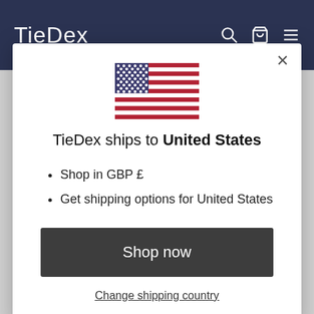TieDex
[Figure (illustration): US flag emoji / illustration centered in modal]
TieDex ships to United States
Shop in GBP £
Get shipping options for United States
Shop now
Change shipping country
cream would go.